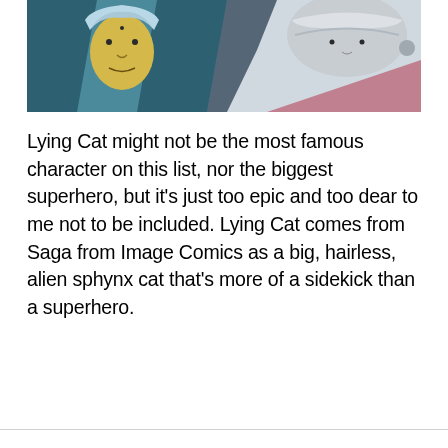[Figure (illustration): Comic panel showing two animated characters: a figure with light blue/grey hair and a yellow face on the left, and a figure with white/grey wrapped head on the right, both against a dark teal/blue background.]
Lying Cat might not be the most famous character on this list, nor the biggest superhero, but it's just too epic and too dear to me not to be included. Lying Cat comes from Saga from Image Comics as a big, hairless, alien sphynx cat that's more of a sidekick than a superhero.